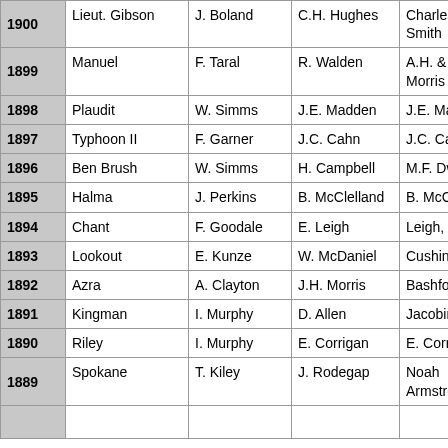| Year | Horse | Jockey | Trainer | Owner |
| --- | --- | --- | --- | --- |
| 1900 | Lieut. Gibson | J. Boland | C.H. Hughes | Charles H. Smith |
| 1899 | Manuel | F. Taral | R. Walden | A.H. & D.H. Morris |
| 1898 | Plaudit | W. Simms | J.E. Madden | J.E. Madden |
| 1897 | Typhoon II | F. Garner | J.C. Cahn | J.C. Cahn |
| 1896 | Ben Brush | W. Simms | H. Campbell | M.F. Dwyer |
| 1895 | Halma | J. Perkins | B. McClelland | B. McClelland |
| 1894 | Chant | F. Goodale | E. Leigh | Leigh, Rose |
| 1893 | Lookout | E. Kunze | W. McDaniel | Cushing, Or |
| 1892 | Azra | A. Clayton | J.H. Morris | Bashford Manor |
| 1891 | Kingman | I. Murphy | D. Allen | Jacobin Stab |
| 1890 | Riley | I. Murphy | E. Corrigan | E. Corrigan |
| 1889 | Spokane | T. Kiley | J. Rodegap | Noah Armstrong |